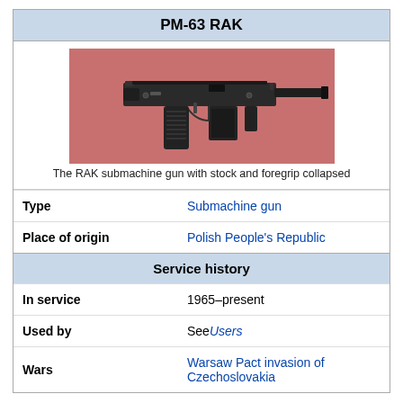PM-63 RAK
[Figure (photo): The RAK submachine gun with stock and foregrip collapsed, shown against a red/pink background]
The RAK submachine gun with stock and foregrip collapsed
| Type | Submachine gun |
| Place of origin | Polish People's Republic |
| Service history |  |
| In service | 1965–present |
| Used by | See Users |
| Wars | Warsaw Pact invasion of Czechoslovakia |